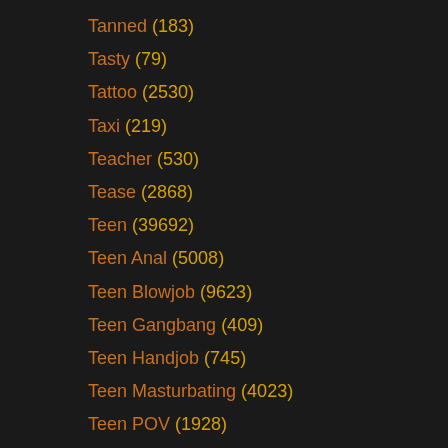Tanned (183)
Tasty (79)
Tattoo (2530)
Taxi (219)
Teacher (530)
Tease (2868)
Teen (39692)
Teen Anal (5008)
Teen Blowjob (9623)
Teen Gangbang (409)
Teen Handjob (745)
Teen Masturbating (4023)
Teen POV (1928)
Teen Shemale (436)
Tennis (28)
Tentacle (?)